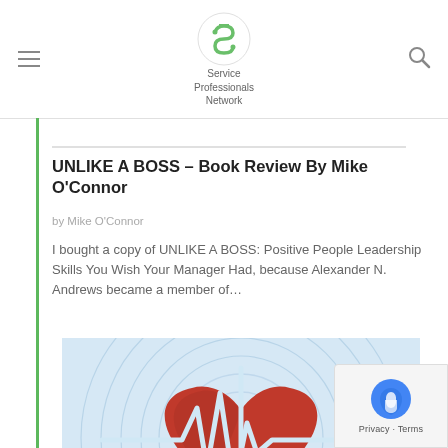Service Professionals Network
UNLIKE A BOSS – Book Review By Mike O'Connor
by Mike O'Connor
I bought a copy of UNLIKE A BOSS: Positive People Leadership Skills You Wish Your Manager Had, because Alexander N. Andrews became a member of…
[Figure (illustration): Heart with EKG/heartbeat line overlaid on ripple/wave pattern background in light blue, red heart shape in center]